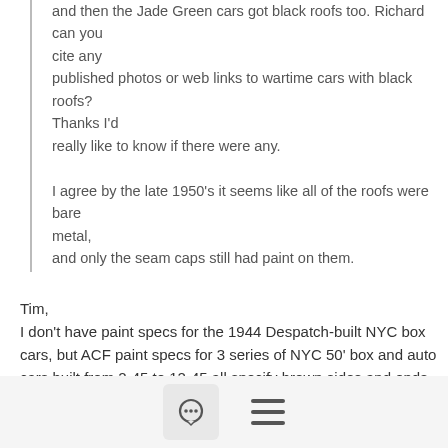and then the Jade Green cars got black roofs too. Richard can you cite any published photos or web links to wartime cars with black roofs? Thanks I'd really like to know if there were any.

I agree by the late 1950's it seems like all of the roofs were bare metal, and only the seam caps still had paint on them.
Tim,
I don't have paint specs for the 1944 Despatch-built NYC box cars, but ACF paint specs for 3 series of NYC 50' box and auto cars built from 2-45 to 12-45 all specify brown sides and ends, black roofs (car cement), black underframes, and black trucks.
ACF lot 2736 - 64500-65499